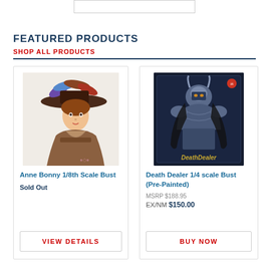FEATURED PRODUCTS
SHOP ALL PRODUCTS
[Figure (photo): Anne Bonny 1/8th Scale Bust figurine - painted bust of a female pirate with feathered hat]
Anne Bonny 1/8th Scale Bust
Sold Out
VIEW DETAILS
[Figure (photo): Death Dealer 1/4 scale Bust (Pre-Painted) - dark fantasy armored warrior figure in box]
Death Dealer 1/4 scale Bust (Pre-Painted)
MSRP $188.95
EX/NM $150.00
BUY NOW